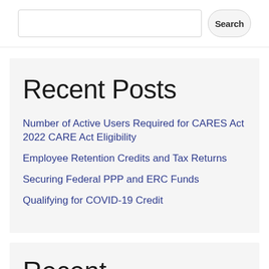Search
Recent Posts
Number of Active Users Required for CARES Act 2022 CARE Act Eligibility
Employee Retention Credits and Tax Returns
Securing Federal PPP and ERC Funds
Qualifying for COVID-19 Credit
Recent